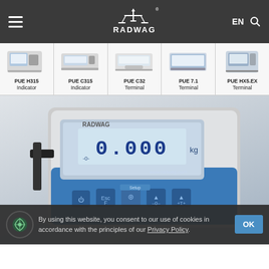RADWAG EN
[Figure (photo): Product thumbnail: PUE H315 Indicator]
PUE H315
Indicator
[Figure (photo): Product thumbnail: PUE C315 Indicator]
PUE C315
Indicator
[Figure (photo): Product thumbnail: PUE C32 Terminal]
PUE C32
Terminal
[Figure (photo): Product thumbnail: PUE 7.1 Terminal]
PUE 7.1
Terminal
[Figure (photo): Product thumbnail: PUE HX5.EX Terminal]
PUE HX5.EX
Terminal
[Figure (photo): Close-up photo of a RADWAG weighing indicator showing digital display reading 0.000 kg with blue body and control buttons]
By using this website, you consent to our use of cookies in accordance with the principles of our Privacy Policy.